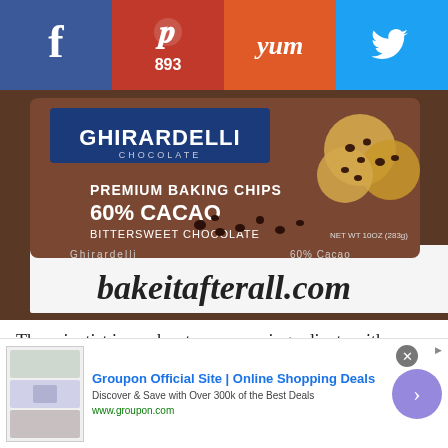[Figure (infographic): Social sharing bar with Facebook (blue), Pinterest (red, 893 saves), Yummly (orange), and Twitter (light blue) buttons]
[Figure (photo): Ghirardelli Premium Baking Chips 60% Cacao Bittersweet Chocolate bag with watermark bakeitafterall.com]
The scientist in me has to measure ingredients with a kitchen scale. I have an old one that, as you can see, is
[Figure (infographic): Groupon advertisement: 'Groupon Official Site | Online Shopping Deals - Discover & Save with Over 300k of the Best Deals - www.groupon.com' with close button and arrow button]